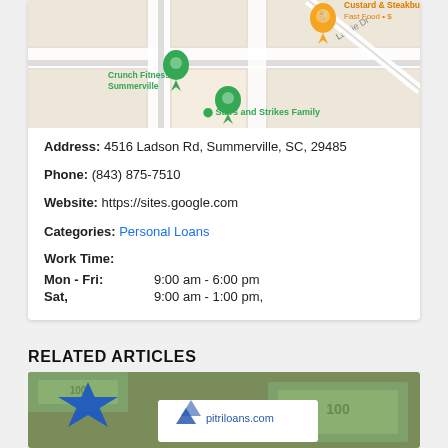[Figure (map): Google Maps screenshot showing Stars and Strikes Family location, Crunch Fitness - Summerville, and a fast food pin labeled Custard & Steakburgers Fast Food • $, with road Lamie Dr visible]
Address: 4516 Ladson Rd, Summerville, SC, 29485
Phone: (843) 875-7510
Website: https://sites.google.com
Categories: Personal Loans
Work Time:
Mon - Fri:   9:00 am - 6:00 pm
Sat,   9:00 am - 1:00 pm,
RELATED ARTICLES
[Figure (photo): Image showing dollar bills with a blue star shape and a white card with pitriloans.com logo and text]